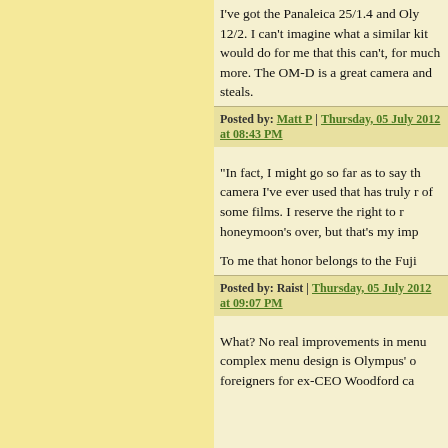I've got the Panaleica 25/1.4 and Oly 12/2. I can't imagine what a similar kit would do for me that this can't, for much more. The OM-D is a great camera and steals.
Posted by: Matt P | Thursday, 05 July 2012 at 08:43 PM
"In fact, I might go so far as to say the camera I've ever used that has truly reminded of some films. I reserve the right to revise honeymoon's over, but that's my impression
To me that honor belongs to the Fuji
Posted by: Raist | Thursday, 05 July 2012 at 09:07 PM
What? No real improvements in menus? complex menu design is Olympus' outstanding foreigners for ex-CEO Woodford ca